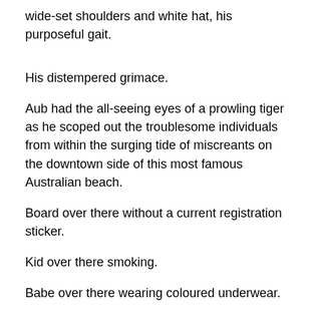wide-set shoulders and white hat, his purposeful gait.
His distempered grimace.
Aub had the all-seeing eyes of a prowling tiger as he scoped out the troublesome individuals from within the surging tide of miscreants on the downtown side of this most famous Australian beach.
Board over there without a current registration sticker.
Kid over there smoking.
Babe over there wearing coloured underwear.
Bloke over there drinking beer.
Bloke over there riding through the fl...